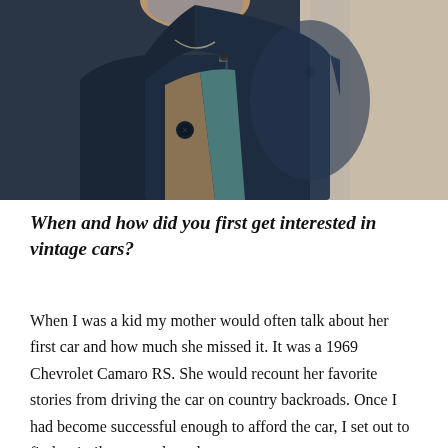[Figure (photo): Close-up portrait of an older man with grey beard wearing a dark navy zip-up jacket over a teal shirt and tan sweater, photographed against a beige/cream background.]
When and how did you first get interested in vintage cars?
When I was a kid my mother would often talk about her first car and how much she missed it. It was a 1969 Chevrolet Camaro RS. She would recount her favorite stories from driving the car on country backroads. Once I had become successful enough to afford the car, I set out to find a similar example and